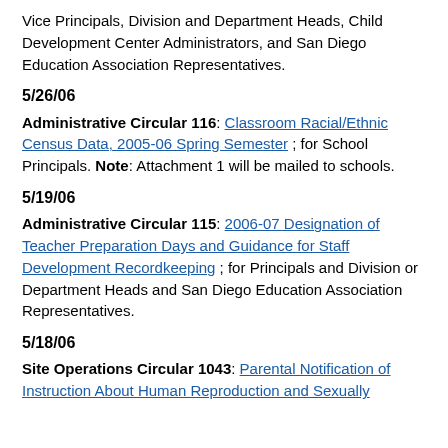Vice Principals, Division and Department Heads, Child Development Center Administrators, and San Diego Education Association Representatives.
5/26/06
Administrative Circular 116: Classroom Racial/Ethnic Census Data, 2005-06 Spring Semester; for School Principals. Note: Attachment 1 will be mailed to schools.
5/19/06
Administrative Circular 115: 2006-07 Designation of Teacher Preparation Days and Guidance for Staff Development Recordkeeping; for Principals and Division or Department Heads and San Diego Education Association Representatives.
5/18/06
Site Operations Circular 1043: Parental Notification of Instruction About Human Reproduction and Sexually